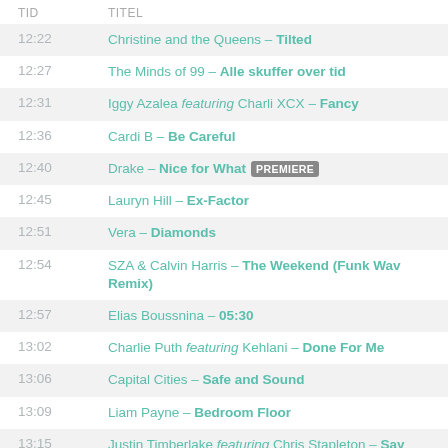| TID | TITEL |
| --- | --- |
| 12:22 | Christine and the Queens – Tilted |
| 12:27 | The Minds of 99 – Alle skuffer over tid |
| 12:31 | Iggy Azalea featuring Charli XCX – Fancy |
| 12:36 | Cardi B – Be Careful |
| 12:40 | Drake – Nice for What PREMIERE |
| 12:45 | Lauryn Hill – Ex-Factor |
| 12:51 | Vera – Diamonds |
| 12:54 | SZA & Calvin Harris – The Weekend (Funk Wav Remix) |
| 12:57 | Elias Boussnina – 05:30 |
| 13:02 | Charlie Puth featuring Kehlani – Done For Me |
| 13:06 | Capital Cities – Safe and Sound |
| 13:09 | Liam Payne – Bedroom Floor |
| 13:15 | Justin Timberlake featuring Chris Stapleton – Say Something |
| 13:23 | Moses: "Andreas" – Gazeller UU |
| 13:29 | Alexander Oscar – Number |